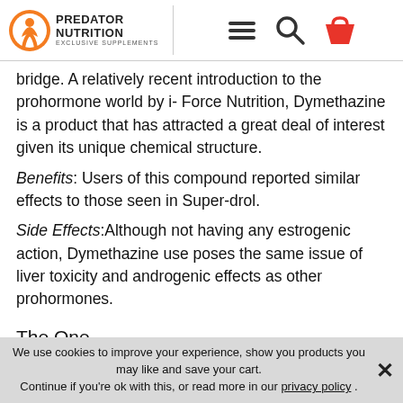Predator Nutrition – Exclusive Supplements
bridge. A relatively recent introduction to the prohormone world by i- Force Nutrition, Dymethazine is a product that has attracted a great deal of interest given its unique chemical structure.
Benefits: Users of this compound reported similar effects to those seen in Super-drol.
Side Effects: Although not having any estrogenic action, Dymethazine use poses the same issue of liver toxicity and androgenic effects as other prohormones.
The One
The One was developed by Applied Nutriceuticals and is a prohormone of Dihydrotestosterone.
We use cookies to improve your experience, show you products you may like and save your cart. Continue if you're ok with this, or read more in our privacy policy .